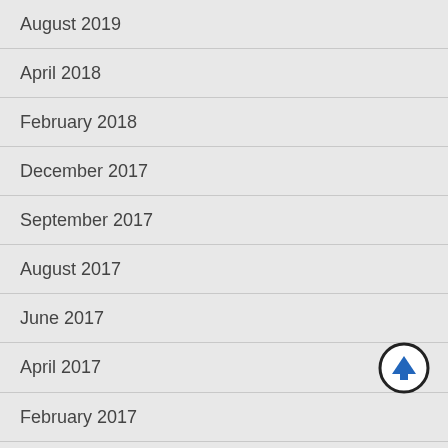August 2019
April 2018
February 2018
December 2017
September 2017
August 2017
June 2017
April 2017
February 2017